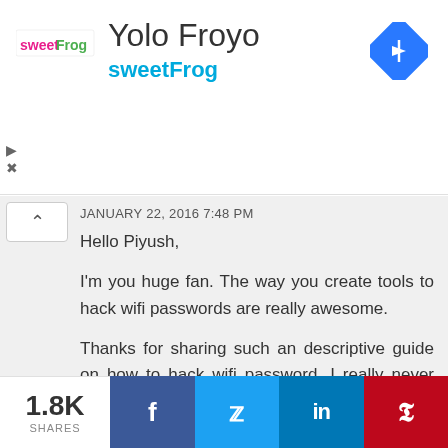[Figure (logo): sweetFrog logo with pink text on white background]
Yolo Froyo
sweetFrog
[Figure (other): Blue diamond navigation/directions icon]
JANUARY 22, 2016 7:48 PM

Hello Piyush,

I'm you huge fan. The way you create tools to hack wifi passwords are really awesome.

Thanks for sharing such an descriptive guide on how to hack wifi password. I really never thought that wifi can be hacked this easily.

The snap shot preview itself show how easy it is to hack wifi.
1.8K SHARES
f   t   in   p